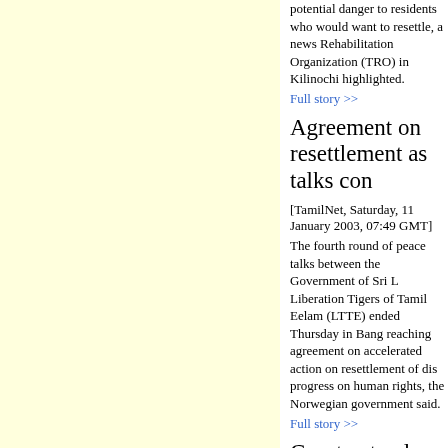potential danger to residents who would want to resettle, a news Rehabilitation Organization (TRO) in Kilinochi highlighted.
Full story >>
Agreement on resettlement as talks con
[TamilNet, Saturday, 11 January 2003, 07:49 GMT]
The fourth round of peace talks between the Government of Sri L Liberation Tigers of Tamil Eelam (LTTE) ended Thursday in Bang reaching agreement on accelerated action on resettlement of dis progress on human rights, the Norwegian government said.
Full story >>
Court extends remand for SLA soldier
[TamilNet, Saturday, 11 January 2003, 03:18 GMT]
The Killinochchi Thamileelam court Friday rejected the bail applic soldier of the Sri Lanka Army (SLA) arrested by Tiger cadres for s territory at Manalaru on December 24 last year and ordered rema days, court sources said.
Full story >>
JJA, TELO condemn attack on Tamil jou
[TamilNet, Saturday, 11 January 2003, 02:43 GMT]
Jaffna Journalists Association (JJA) strongly condemned the atta Jeyananandamoorthy, in a report published today adding that the raises suspicion that the perpertrators intended to kill him. Tamil E Organization (TELO) in its press release also condemned the att
Full story >>
Grade-1 school enrolments up
[TamilNet, Saturday, 11 January 2003, 02:16 GMT]
After a marked decline in admissions to Grade 1 in NorthEast sc years, the numbers have reached a record high this year, said Ka Minister of Education, in a report published today. In the last two admitted to Grade 1 reached seventy thousand, sources in Jaff